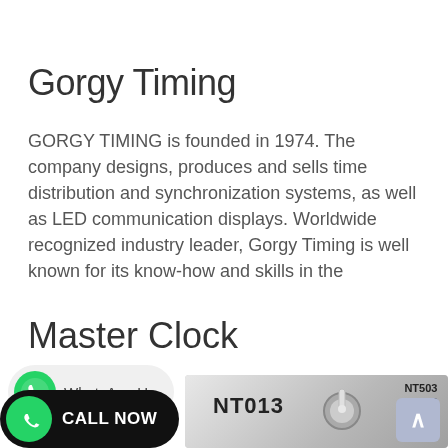Gorgy Timing
GORGY TIMING is founded in 1974. The company designs, produces and sells time distribution and synchronization systems, as well as LED communication displays. Worldwide recognized industry leader, Gorgy Timing is well known for its know-how and skills in the
Master Clock
[Figure (photo): A photo of a device panel labeled NT013 with a toggle switch/knob, and another panel labeled NT503 visible in the background. Overlaid with a WhatsApp Us badge and a Call Now button.]